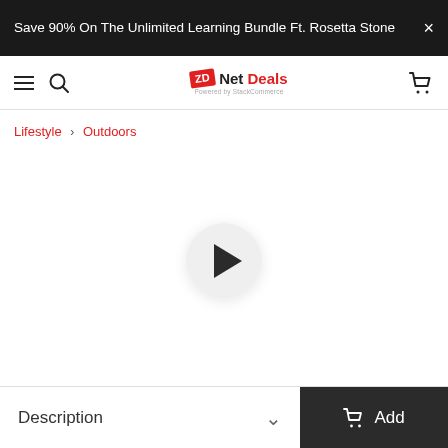Save 90% On The Unlimited Learning Bundle Ft. Rosetta Stone
[Figure (logo): ZDNet Deals logo with navigation bar including hamburger menu, search icon, and cart icon]
Lifestyle › Outdoors
[Figure (other): Product video player area with play button circle in center on white background]
Description
Add